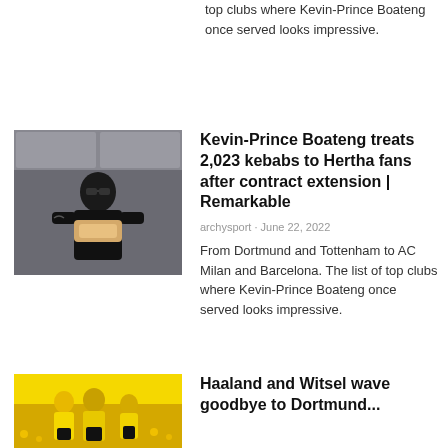top clubs where Kevin-Prince Boateng once served looks impressive.
[Figure (photo): Kevin-Prince Boateng in a kitchen wearing black, holding food (kebab)]
Kevin-Prince Boateng treats 2,023 kebabs to Hertha fans after contract extension | Remarkable
archysport · June 22, 2022
From Dortmund and Tottenham to AC Milan and Barcelona. The list of top clubs where Kevin-Prince Boateng once served looks impressive.
[Figure (photo): Haaland and Witsel in yellow Dortmund jerseys, crowd in background]
Haaland and Witsel wave goodbye to Dortmund...